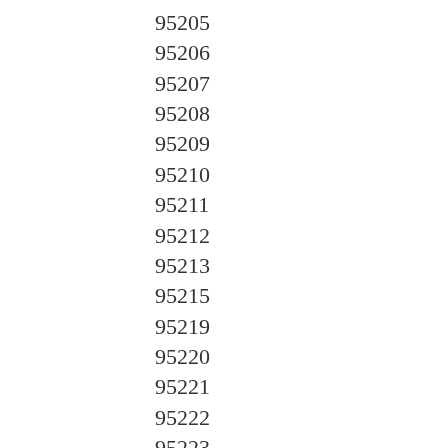95205
95206
95207
95208
95209
95210
95211
95212
95213
95215
95219
95220
95221
95222
95223
95224
95225
95226